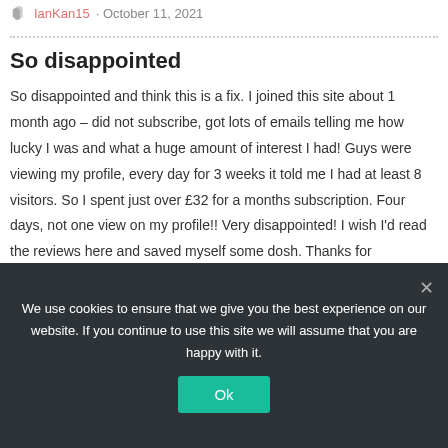IanKan15 · October 11, 2021
So disappointed
So disappointed and think this is a fix. I joined this site about 1 month ago – did not subscribe, got lots of emails telling me how lucky I was and what a huge amount of interest I had! Guys were viewing my profile, every day for 3 weeks it told me I had at least 8 visitors. So I spent just over £32 for a months subscription. Four days, not one view on my profile!! Very disappointed! I wish I'd read the reviews here and saved myself some dosh. Thanks for
We use cookies to ensure that we give you the best experience on our website. If you continue to use this site we will assume that you are happy with it.